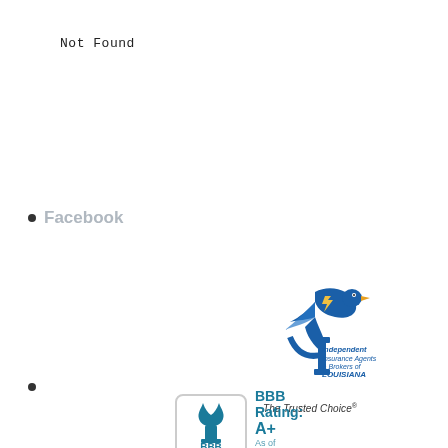Not Found
Facebook
[Figure (logo): Independent Insurance Agents & Brokers of Louisiana logo with bird and 'The Trusted Choice' tagline]
[Figure (logo): BBB Rating: A+ As of 8/30/2022 logo with torch flame icon]